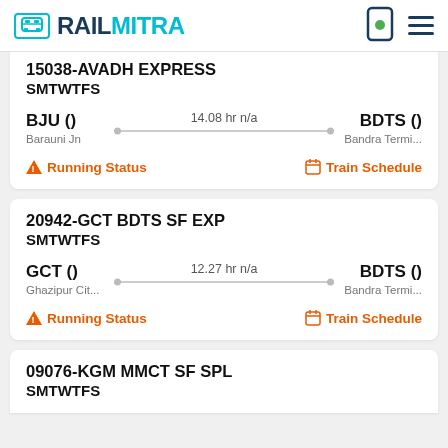RAILMITRA
15038-AVADH EXPRESS
SMTWTFS
BJU ()
Barauni Jn
14.08 hr n/a
BDTS ()
Bandra Termi...
Running Status | Train Schedule
20942-GCT BDTS SF EXP
SMTWTFS
GCT ()
Ghazipur Cit...
12.27 hr n/a
BDTS ()
Bandra Termi...
Running Status | Train Schedule
09076-KGM MMCT SF SPL
SMTWTFS